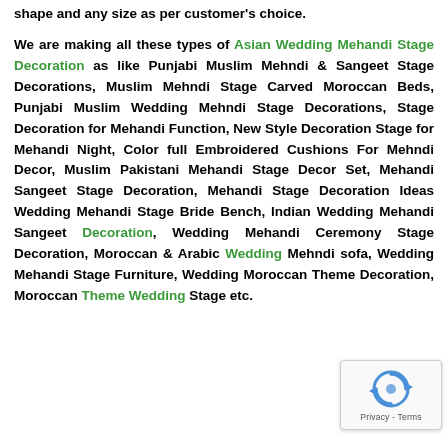shape and any size as per customer's choice. We are making all these types of Asian Wedding Mehandi Stage Decoration as like Punjabi Muslim Mehndi & Sangeet Stage Decorations, Muslim Mehndi Stage Carved Moroccan Beds, Punjabi Muslim Wedding Mehndi Stage Decorations, Stage Decoration for Mehandi Function, New Style Decoration Stage for Mehandi Night, Color full Embroidered Cushions For Mehndi Decor, Muslim Pakistani Mehandi Stage Decor Set, Mehandi Sangeet Stage Decoration, Mehandi Stage Decoration Ideas Wedding Mehandi Stage Bride Bench, Indian Wedding Mehandi Sangeet Decoration, Wedding Mehandi Ceremony Stage Decoration, Moroccan & Arabic Wedding Mehndi sofa, Wedding Mehandi Stage Furniture, Wedding Moroccan Theme Decoration, Moroccan Theme Wedding Stage etc.
[Figure (other): reCAPTCHA widget overlay with circular arrow icon and Privacy - Terms footer]